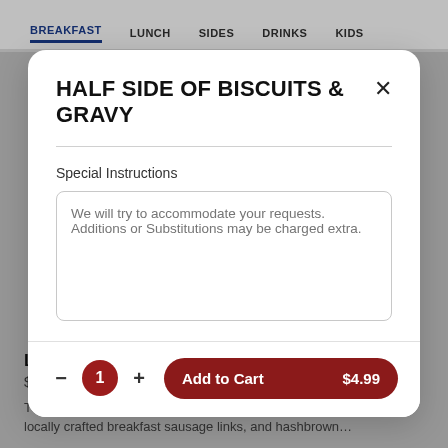BREAKFAST  LUNCH  SIDES  DRINKS  KIDS
HALF SIDE OF BISCUITS & GRAVY
Special Instructions
We will try to accommodate your requests. Additions or Substitutions may be charged extra.
1  Add to Cart  $4.99
LUMBERJACK BREAKFAST
$15.99
Three fresh eggs*, honey cured bacon, smoked sugar-cured ham, locally crafted breakfast sausage links, and hashbrown...